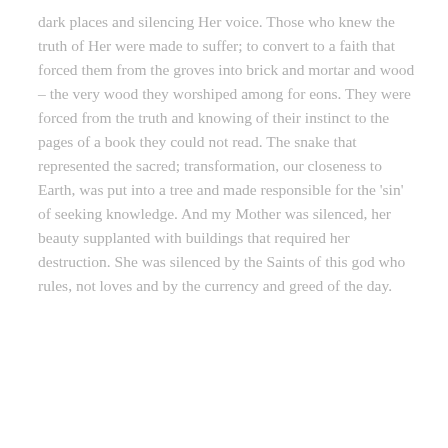dark places and silencing Her voice. Those who knew the truth of Her were made to suffer; to convert to a faith that forced them from the groves into brick and mortar and wood – the very wood they worshiped among for eons. They were forced from the truth and knowing of their instinct to the pages of a book they could not read. The snake that represented the sacred; transformation, our closeness to Earth, was put into a tree and made responsible for the 'sin' of seeking knowledge. And my Mother was silenced, her beauty supplanted with buildings that required her destruction. She was silenced by the Saints of this god who rules, not loves and by the currency and greed of the day.